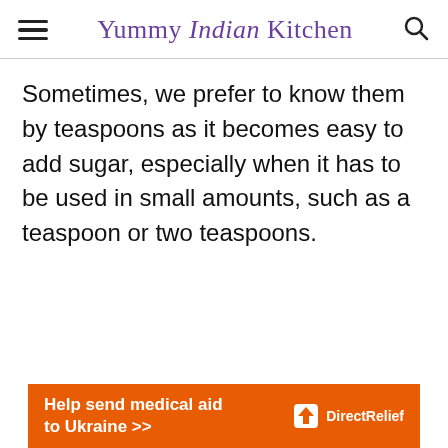Yummy Indian Kitchen
Sometimes, we prefer to know them by teaspoons as it becomes easy to add sugar, especially when it has to be used in small amounts, such as a teaspoon or two teaspoons.
[Figure (other): Direct Relief advertisement banner: 'Help send medical aid to Ukraine >>' with Direct Relief logo on orange background]